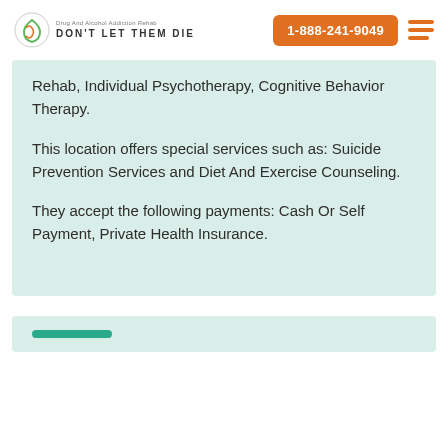DON'T LET THEM DIE | 1-888-241-9049
Rehab, Individual Psychotherapy, Cognitive Behavior Therapy.
This location offers special services such as: Suicide Prevention Services and Diet And Exercise Counseling.
They accept the following payments: Cash Or Self Payment, Private Health Insurance.